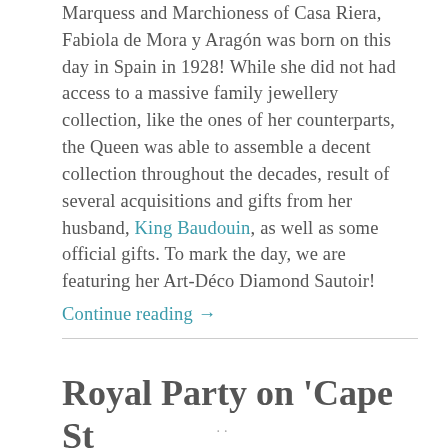Marquess and Marchioness of Casa Riera, Fabiola de Mora y Aragón was born on this day in Spain in 1928! While she did not had access to a massive family jewellery collection, like the ones of her counterparts, the Queen was able to assemble a decent collection throughout the decades, result of several acquisitions and gifts from her husband, King Baudouin, as well as some official gifts. To mark the day, we are featuring her Art-Déco Diamond Sautoir! Continue reading →
Royal Party on 'Cape St